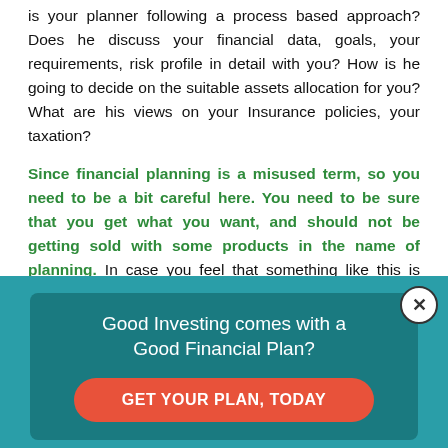is your planner following a process based approach? Does he discuss your financial data, goals, your requirements, risk profile in detail with you? How is he going to decide on the suitable assets allocation for you? What are his views on your Insurance policies, your taxation?
Since financial planning is a misused term, so you need to be a bit careful here. You need to be sure that you get what you want, and should not be getting sold with some products in the name of planning. In case you feel that something like this is happening, it’s better to immediately discuss this out with the planner and if required cancel the engagement in between.
[Figure (infographic): Advertisement banner with teal background. Title: 'Good Investing comes with a Good Financial Plan?' with a coral/red rounded button labeled 'GET YOUR PLAN, TODAY'. A close (X) button is in the top right corner.]